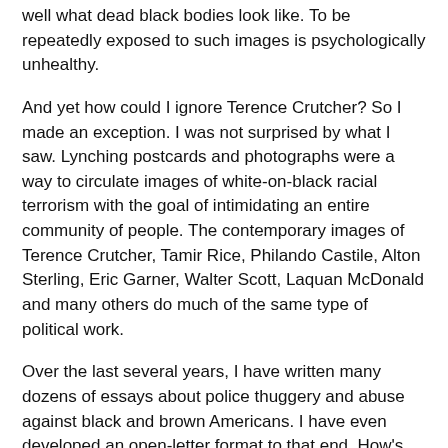well what dead black bodies look like. To be repeatedly exposed to such images is psychologically unhealthy.
And yet how could I ignore Terence Crutcher? So I made an exception. I was not surprised by what I saw. Lynching postcards and photographs were a way to circulate images of white-on-black racial terrorism with the goal of intimidating an entire community of people. The contemporary images of Terence Crutcher, Tamir Rice, Philando Castile, Alton Sterling, Eric Garner, Walter Scott, Laquan McDonald and many others do much of the same type of political work.
Over the last several years, I have written many dozens of essays about police thuggery and abuse against black and brown Americans. I have even developed an open-letter format to that end. How's that for macabre efficiency? Every one could start this way:
Dear America's police: